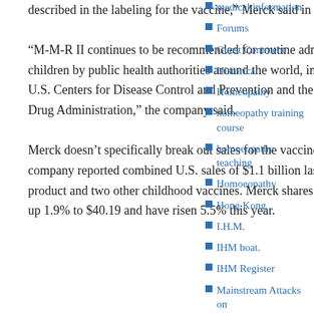described in the labeling for the vaccine," Merck said in a statement.
“M-M-R II continues to be recommended for routine administration to children by public health authorities around the world, including the U.S. Centers for Disease Control and Prevention and the U.S. Food and Drug Administration,” the company said.
Merck doesn’t specifically break out sales for the vaccine, but the company reported combined U.S. sales of $1.1 billion last year for that product and two other childhood vaccines. Merck shares recently traded up 1.9% to $40.19 and have risen 5.5% this year.
medical information
Forums
Guest Comment
Historical
Homeopathy
homeopathy training course
homoeopathy teaching
Homoeopathy
Hong Kong
I.H.M.
IHM boat.
IHM Register
Mainstream Attacks on